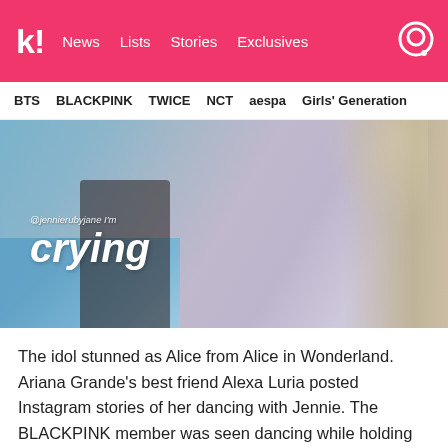k! News  Lists  Stories  Exclusives
BTS  BLACKPINK  TWICE  NCT  aespa  Girls' Generation
[Figure (photo): Screenshot of a social media meme/reaction image showing a person in a blue shirt with long flowing hair visible on the right side. White text overlay reads '@jennierubyjane I'm crying' with 'crying' in large bold italic font.]
The idol stunned as Alice from Alice in Wonderland. Ariana Grande's best friend Alexa Luria posted Instagram stories of her dancing with Jennie. The BLACKPINK member was seen dancing while holding on to Alexa Luria's long Rapunzel wig.